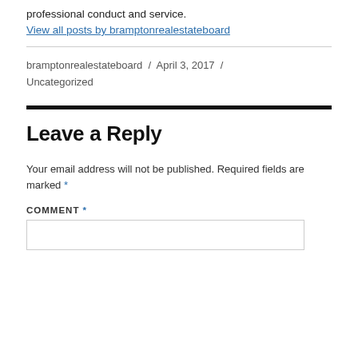professional conduct and service.
View all posts by bramptonrealestateboard
bramptonrealestateboard / April 3, 2017 / Uncategorized
Leave a Reply
Your email address will not be published. Required fields are marked *
COMMENT *